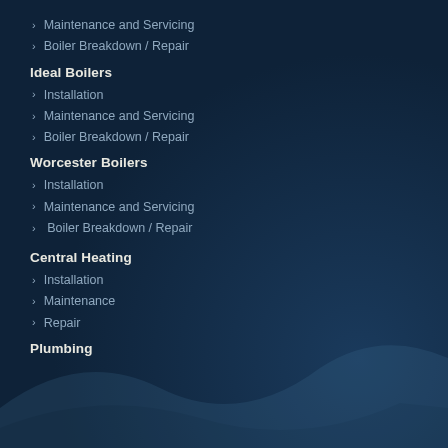Maintenance and Servicing
Boiler Breakdown / Repair
Ideal Boilers
Installation
Maintenance and Servicing
Boiler Breakdown / Repair
Worcester Boilers
Installation
Maintenance and Servicing
Boiler Breakdown / Repair
Central Heating
Installation
Maintenance
Repair
Plumbing